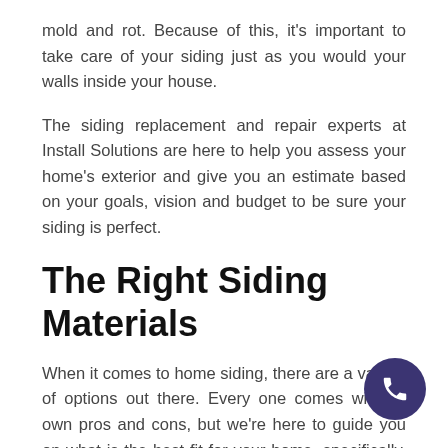mold and rot. Because of this, it's important to take care of your siding just as you would your walls inside your house.
The siding replacement and repair experts at Install Solutions are here to help you assess your home's exterior and give you an estimate based on your goals, vision and budget to be sure your siding is perfect.
The Right Siding Materials
When it comes to home siding, there are a variety of options out there. Every one comes with its own pros and cons, but we're here to guide you on what is the best fit for your home, specifically. Some of the potential materials for your siding include aluminum, cement, vinyl, hardwood, and brick. Ultimately, the choice is yours to make; we're just here to help.